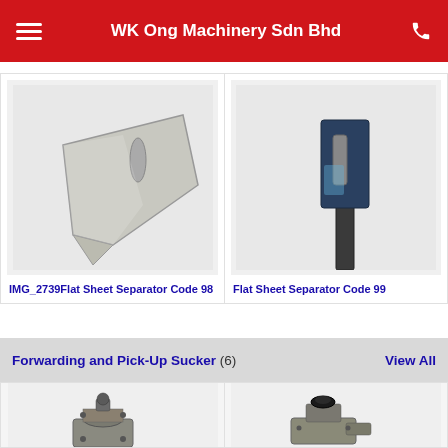WK Ong Machinery Sdn Bhd
[Figure (photo): Flat sheet separator metal tool with elongated slot, silver colored, angled shape - Code 98]
IMG_2739Flat Sheet Separator Code 98
[Figure (photo): Flat sheet separator dark colored tool with elongated slot and long handle - Code 99]
Flat Sheet Separator Code 99
Forwarding and Pick-Up Sucker (6)
View All
[Figure (photo): Forwarding and pick-up sucker mechanical component, metallic]
[Figure (photo): Forwarding and pick-up sucker mechanical component with black rubber suction cup]